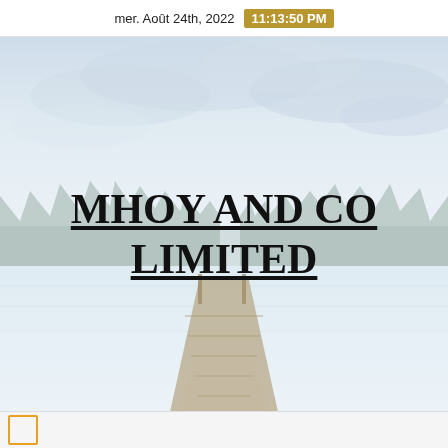mer. Août 24th, 2022  11:13:50 PM
[Figure (photo): A misty lake scene with a wooden dock extending into calm water, surrounded by evergreen trees in the background with overcast sky. The image is light and washed-out with a cool, pale blue-grey tone.]
MHOY AND CO LIMITED